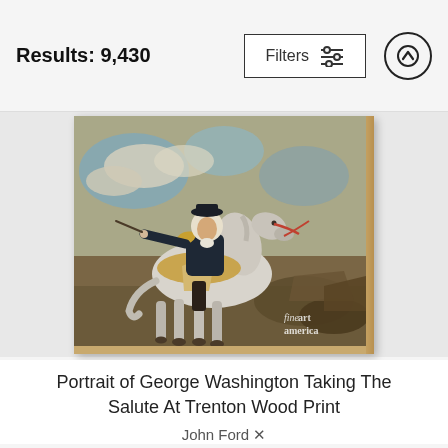Results: 9,430
[Figure (photo): Portrait painting of George Washington on a white horse, raising a baton, depicted at Trenton. The painting is presented as a wood print with a wooden border on the right side. A Fine Art America watermark appears at the bottom right.]
Portrait of George Washington Taking The Salute At Trenton Wood Print
John Ford